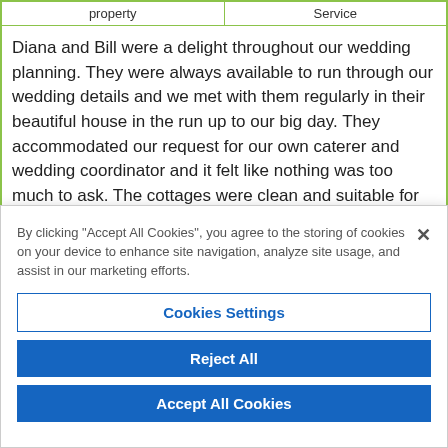| property | Service |
| --- | --- |
Diana and Bill were a delight throughout our wedding planning. They were always available to run through our wedding details and we met with them regularly in their beautiful house in the run up to our big day. They accommodated our request for our own caterer and wedding coordinator and it felt like nothing was too much to ask. The cottages were clean and suitable for our large party and the
By clicking "Accept All Cookies", you agree to the storing of cookies on your device to enhance site navigation, analyze site usage, and assist in our marketing efforts.
Cookies Settings
Reject All
Accept All Cookies